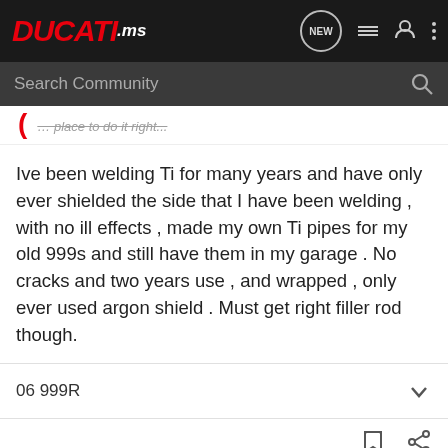DUCATI.ms — navigation bar with search
... place to do it right...
Ive been welding Ti for many years and have only ever shielded the side that I have been welding , with no ill effects , made my own Ti pipes for my old 999s and still have them in my garage . No cracks and two years use , and wrapped , only ever used argon shield . Must get right filler rod though.
06 999R
[Figure (screenshot): Suzuki GSX-S1000GT advertisement banner at bottom of page]